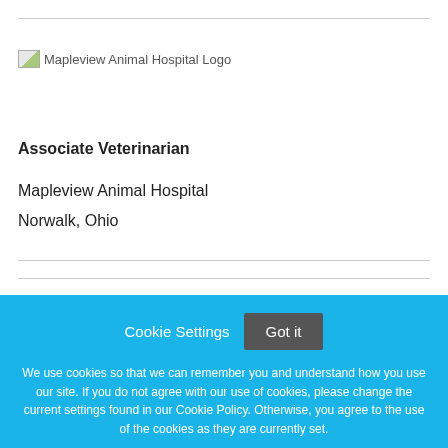[Figure (logo): Mapleview Animal Hospital Logo — broken image placeholder with alt text]
Associate Veterinarian
Mapleview Animal Hospital
Norwalk, Ohio
Cookie Settings  Got it
We use cookies so that we can remember you and understand how you use our site. If you do not agree with our use of cookies, please change the current settings found in our Cookie Policy. Otherwise, you agree to the use of the cookies as they are currently set.